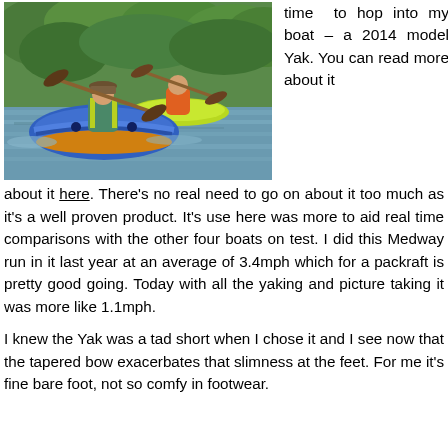[Figure (photo): Two kayakers paddling on a river. The foreground kayaker is in a blue inflatable packraft with yellow trim, wearing a hat and green life vest. A second kayaker behind is in a bright yellow-green kayak wearing an orange jacket, surrounded by green trees.]
time to hop into my boat – a 2014 model Yak. You can read more about it here. There's no real need to go on about it too much as it's a well proven product. It's use here was more to aid real time comparisons with the other four boats on test. I did this Medway run in it last year at an average of 3.4mph which for a packraft is pretty good going. Today with all the yaking and picture taking it was more like 1.1mph.
I knew the Yak was a tad short when I chose it and I see now that the tapered bow exacerbates that slimness at the feet. For me it's fine bare foot, not so comfy in footwear.